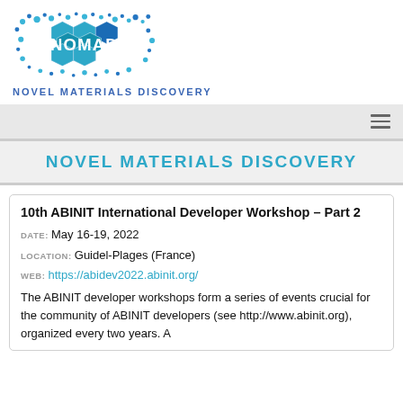[Figure (logo): NOMAD logo — 3D teal/blue hexagonal cubic shapes with dots, white text 'NOMAD' in center]
NOVEL MATERIALS DISCOVERY
[Figure (screenshot): Navigation bar with hamburger menu icon on grey background]
NOVEL MATERIALS DISCOVERY
10th ABINIT International Developer Workshop – Part 2
DATE: May 16-19, 2022
LOCATION: Guidel-Plages (France)
WEB: https://abidev2022.abinit.org/
The ABINIT developer workshops form a series of events crucial for the community of ABINIT developers (see http://www.abinit.org), organized every two years. A